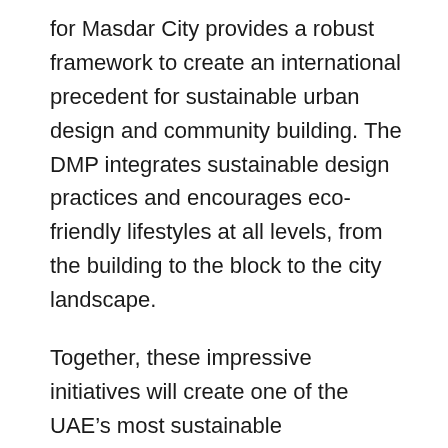for Masdar City provides a robust framework to create an international precedent for sustainable urban design and community building. The DMP integrates sustainable design practices and encourages eco-friendly lifestyles at all levels, from the building to the block to the city landscape.
Together, these impressive initiatives will create one of the UAE’s most sustainable communities as assessed by the Abu Dhabi Urban Planning Council (ADUPC). Estidama, the ADUPC’s rigorous sustainability program, sets ambitious goals to promote social, environmental, cultural and economic wellbeing through thoughtful urban and architectural design. Much like the LEED certification program, Estidama awards buildings and